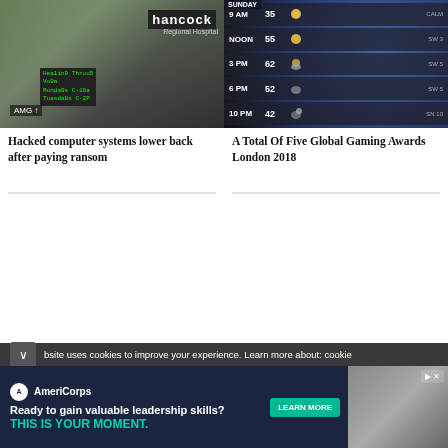[Figure (photo): Hospital exterior with Hancock Regional Hospital sign, parked cars, and digital sign showing health program schedule]
[Figure (infographic): Weather forecast showing Sunday temperatures: 9 AM 35 CALM, NOON 55 SW 3, 3 PM 62 SW 5, 6 PM 52 SW 5, 10 PM 42 SN 10]
Hacked computer systems lower back after paying ransom
A Total Of Five Global Gaming Awards London 2018
[Figure (photo): Placeholder image area (light gray)]
[Figure (photo): Placeholder image area (light gray)]
bsite uses cookies to improve your experience. Learn more about: cookie
AmeriCorps — Ready to gain valuable leadership skills? THIS IS YOUR MOMENT. LEARN MORE